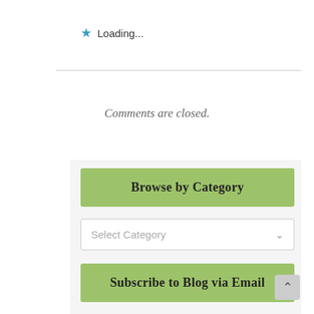Loading...
Comments are closed.
Browse by Category
Select Category
Subscribe to Blog via Email
Enter your email address to subscribe to this blog and receive notifications of new posts by email.